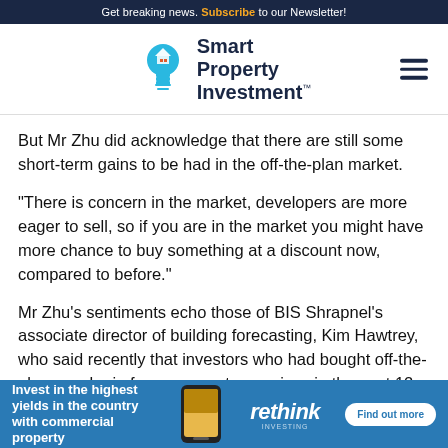Get breaking news. Subscribe to our Newsletter!
[Figure (logo): Smart Property Investment logo with lightbulb icon and brand name]
But Mr Zhu did acknowledge that there are still some short-term gains to be had in the off-the-plan market.
“There is concern in the market, developers are more eager to sell, so if you are in the market you might have more chance to buy something at a discount now, compared to before.”
Mr Zhu’s sentiments echo those of BIS Shrapnel’s associate director of building forecasting, Kim Hawtrey, who said recently that investors who had bought off-the-plan may be in for some nasty surprises in the next 12 months
[Figure (infographic): Advertisement banner: Invest in the highest yields in the country with commercial property – rethink – Find out more]